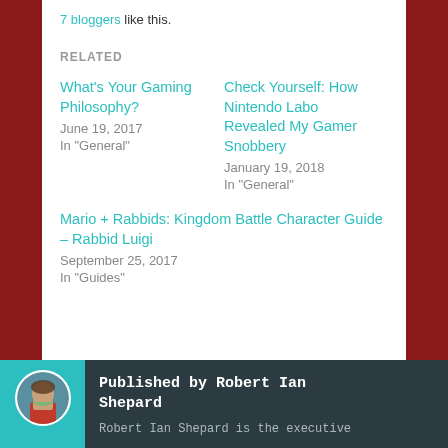7 bloggers like this.
RELATED
What's Your Gaming Philosophy?
June 19, 2017
In "General"
Check Yourself: How Nintendo Labo Revealed My Gamer Snobbery
January 19, 2018
In "General"
Mario + Rabbids: Kingdom Battle Character Guide – Rabbid Luigi
September 25, 2017
In "Guides"
Published by Robert Ian Shepard
Robert Ian Shepard is the executive